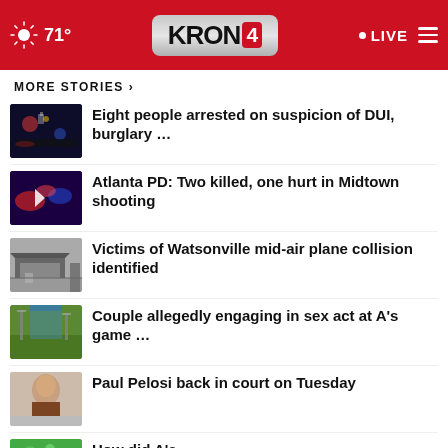KRON 4 | 71° | LIVE
MORE STORIES ›
Eight people arrested on suspicion of DUI, burglary …
Atlanta PD: Two killed, one hurt in Midtown shooting
Victims of Watsonville mid-air plane collision identified
Couple allegedly engaging in sex act at A's game …
Paul Pelosi back in court on Tuesday
How did A's …